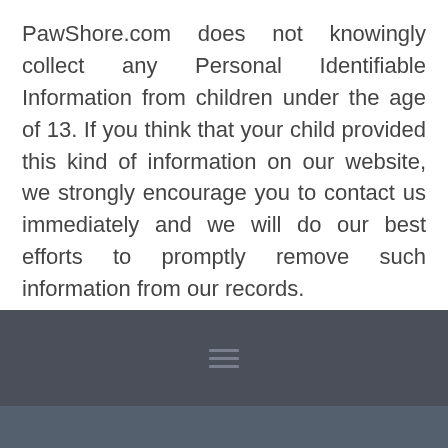PawShore.com does not knowingly collect any Personal Identifiable Information from children under the age of 13. If you think that your child provided this kind of information on our website, we strongly encourage you to contact us immediately and we will do our best efforts to promptly remove such information from our records.
[Figure (other): Dark footer bar with a hamburger menu icon (three horizontal lines) centered within it]